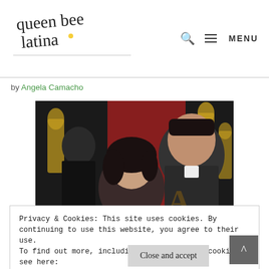queen bee latina — MENU
by Angela Camacho
[Figure (photo): Selfie photo of a woman with dark curly hair and a man smiling, taken at what appears to be an Academy Awards event with golden Oscar statues visible in the background.]
Privacy & Cookies: This site uses cookies. By continuing to use this website, you agree to their use.
To find out more, including how to control cookies, see here:
Privacy Policy
Close and accept
Wow a year has gone by so quickly! The countdown begins for the 90th Academy Awards.